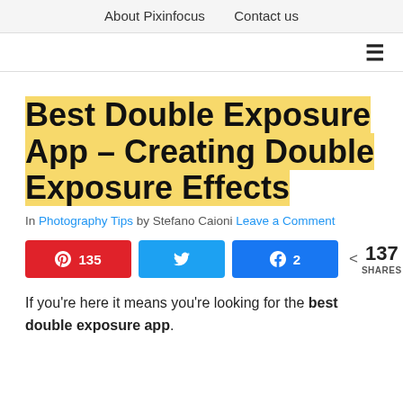About Pixinfocus   Contact us
≡
Best Double Exposure App – Creating Double Exposure Effects
In Photography Tips by Stefano Caioni Leave a Comment
[Figure (infographic): Social share buttons: Pinterest 135, Twitter (no count), Facebook 2, and total 137 SHARES with share icon]
If you're here it means you're looking for the best double exposure app.